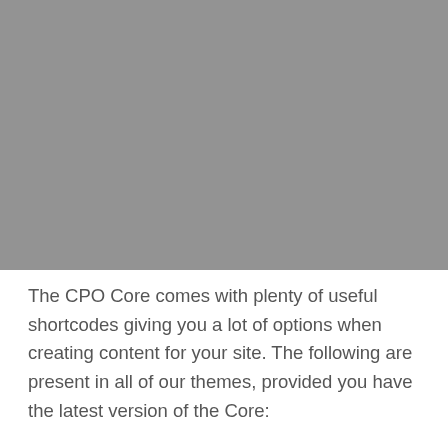[Figure (other): Gray rectangular placeholder image occupying the top portion of the page]
The CPO Core comes with plenty of useful shortcodes giving you a lot of options when creating content for your site. The following are present in all of our themes, provided you have the latest version of the Core: